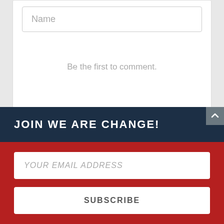Name
Be the first to comment.
Subscribe  Do Not Sell My Data  DISQUS
JOIN WE ARE CHANGE!
YOUR EMAIL ADDRESS
SUBSCRIBE